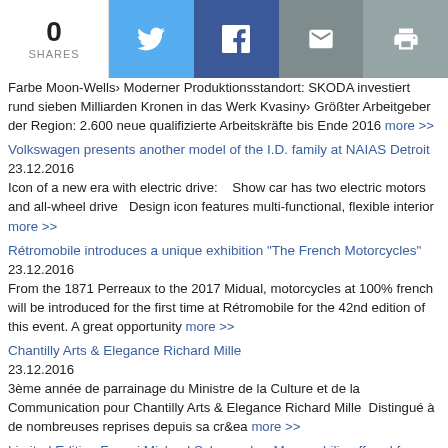0 SHARES | Twitter | Facebook | Email | Print
Farbe Moon-Wells› Moderner Produktionsstandort: SKODA investiert rund sieben Milliarden Kronen in das Werk Kvasiny› Größter Arbeitgeber der Region: 2.600 neue qualifizierte Arbeitskräfte bis Ende 2016 more >>
Volkswagen presents another model of the I.D. family at NAIAS Detroit
23.12.2016
Icon of a new era with electric drive:    Show car has two electric motors and all-wheel drive   Design icon features multi-functional, flexible interior more >>
Rétromobile introduces a unique exhibition "The French Motorcycles"
23.12.2016
From the 1871 Perreaux to the 2017 Midual, motorcycles at 100% french will be introduced for the first time at Rétromobile for the 42nd edition of this event. A great opportunity more >>
Chantilly Arts & Elegance Richard Mille
23.12.2016
3ème année de parrainage du Ministre de la Culture et de la Communication pour Chantilly Arts & Elegance Richard Mille  Distingué à de nombreuses reprises depuis sa cr&ea more >>
Limited Edition Ferrari Michael Schumacher Memorabilia offered for auction by Charitystars